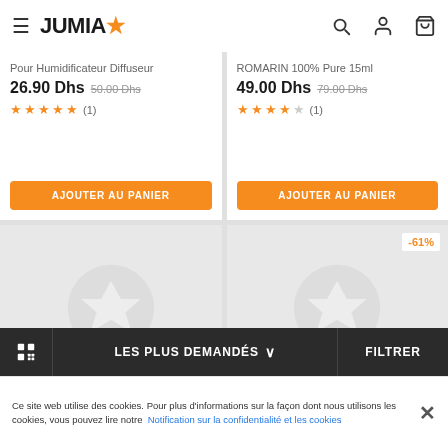JUMIA - Navigation header with hamburger menu, logo, search, account, and cart icons
Pour Humidificateur Diffuseur
26.90 Dhs 50.00 Dhs
★★★★★ (1)
ROMARIN 100% Pure 15ml
49.00 Dhs 79.00 Dhs
★★★★☆ (1)
[Figure (screenshot): Product card placeholder image with Jumia star logo watermark (bottom-left product)]
[Figure (screenshot): Product card placeholder image with Jumia star logo watermark and -61% discount badge (bottom-right product)]
LES PLUS DEMANDÉS ∨  |  FILTRER
Ce site web utilise des cookies. Pour plus d'informations sur la façon dont nous utilisons les cookies, vous pouvez lire notre Notification sur la confidentialité et les cookies